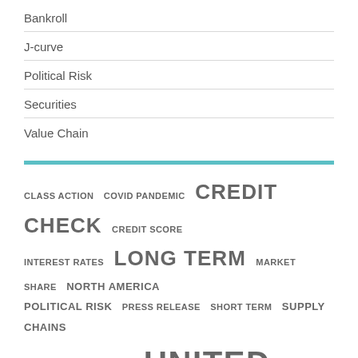Bankroll
J-curve
Political Risk
Securities
Value Chain
[Figure (infographic): Tag cloud with finance-related terms in varying font sizes. Terms include: CLASS ACTION, COVID PANDEMIC, CREDIT CHECK (large), CREDIT SCORE, INTEREST RATES, LONG TERM (large), MARKET SHARE, NORTH AMERICA, POLITICAL RISK, PRESS RELEASE, SHORT TERM, SUPPLY CHAINS, SUPPLY HYPERLINK, UNITED STATES (largest), VICE PRESIDENT.]